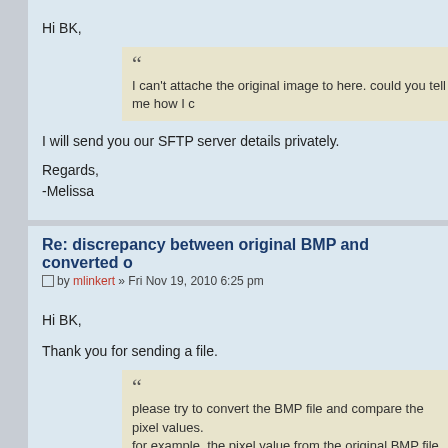Hi BK,
I can't attache the original image to here. could you tell me how I c
I will send you our SFTP server details privately.
Regards,
-Melissa
Re: discrepancy between original BMP and converted o
by mlinkert » Fri Nov 19, 2010 6:25 pm
Hi BK,
Thank you for sending a file.
please try to convert the BMP file and compare the pixel values.
for example, the pixel value from the original BMP file at x=100, y=
location from the converted ome-tif file.